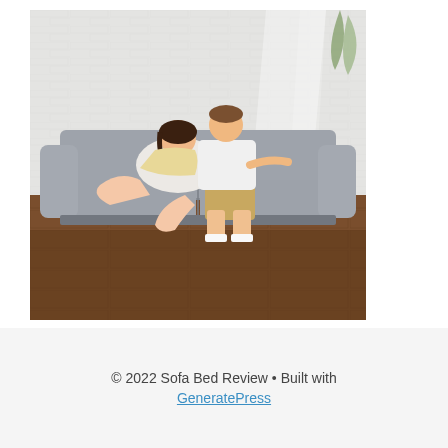[Figure (photo): A couple sitting on a gray sofa bed in a bright room with white brick walls and wood floors. A young woman is lying across a young man's lap, both appear relaxed and smiling.]
© 2022 Sofa Bed Review • Built with GeneratePress